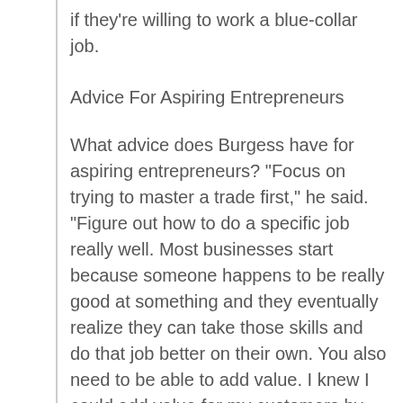if they're willing to work a blue-collar job.
Advice For Aspiring Entrepreneurs
What advice does Burgess have for aspiring entrepreneurs? "Focus on trying to master a trade first," he said. "Figure out how to do a specific job really well. Most businesses start because someone happens to be really good at something and they eventually realize they can take those skills and do that job better on their own. You also need to be able to add value. I knew I could add value for my customers by going off on my own."